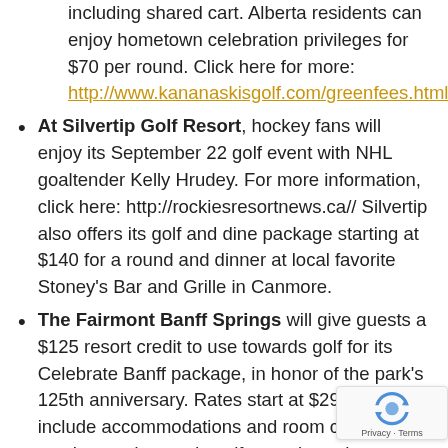including shared cart. Alberta residents can enjoy hometown celebration privileges for $70 per round. Click here for more: http://www.kananaskisgolf.com/greenfees.html
At Silvertip Golf Resort, hockey fans will enjoy its September 22 golf event with NHL goaltender Kelly Hrudey. For more information, click here: http://rockiesresortnews.ca// Silvertip also offers its golf and dine package starting at $140 for a round and dinner at local favorite Stoney's Bar and Grille in Canmore.
The Fairmont Banff Springs will give guests a $125 resort credit to use towards golf for its Celebrate Banff package, in honor of the park's 125th anniversary. Rates start at $299 and include accommodations and room credit that can be used towards golf, now through September 3 http://www.fairmont.com/banffsprings/Hote
Canmore Golf & Curling Club wants you to...